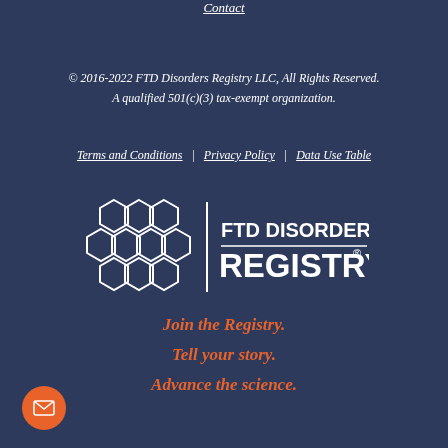Contact
© 2016-2022 FTD Disorders Registry LLC, All Rights Reserved. A qualified 501(c)(3) tax-exempt organization.
Terms and Conditions | Privacy Policy | Data Use Table
[Figure (logo): FTD Disorders Registry logo with hexagonal honeycomb pattern on left and text 'FTD DISORDERS REGISTRY®' on right with a horizontal dividing line]
Join the Registry. Tell your story. Advance the science.